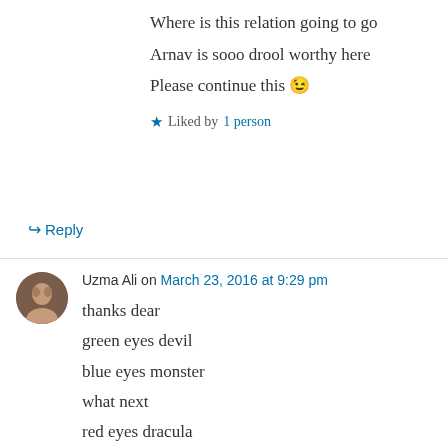Where is this relation going to go
Arnav is sooo drool worthy here
Please continue this 😉
★ Liked by 1 person
↳ Reply
Uzma Ali on March 23, 2016 at 9:29 pm
thanks dear
green eyes devil
blue eyes monster
what next
red eyes dracula
hope someday we find, in a horror romantic
crazy ff.